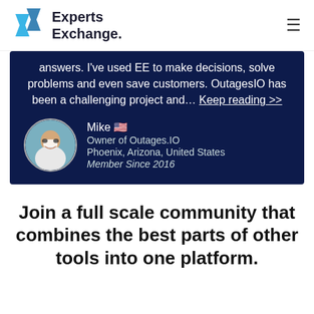Experts Exchange.
answers. I've used EE to make decisions, solve problems and even save customers. OutagesIO has been a challenging project and... Keep reading >>
Mike 🇺🇸
Owner of Outages.IO
Phoenix, Arizona, United States
Member Since 2016
Join a full scale community that combines the best parts of other tools into one platform.